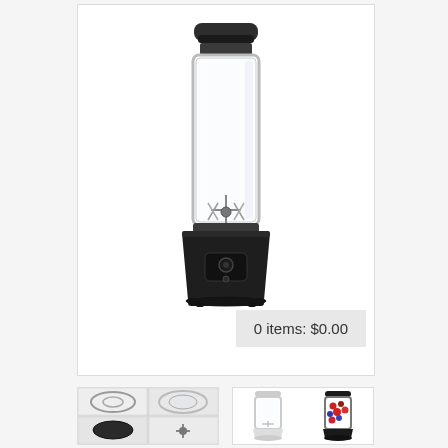[Figure (photo): Main product image of a portable personal blender with black base and motor housing, transparent cylindrical cup/jar, and black lid, shown on white background. A gray badge overlay in bottom right reads '0 items: $0.00'.]
0 items: $0.00
[Figure (photo): Thumbnail image showing a collage/grid of 4 photos of blender components in white: lid pieces, cup parts, blade assembly, shown on marble background.]
[Figure (photo): Thumbnail image showing two portable blenders side by side: one white and one black/dark, with the black one filled with red and blue berries/fruit.]